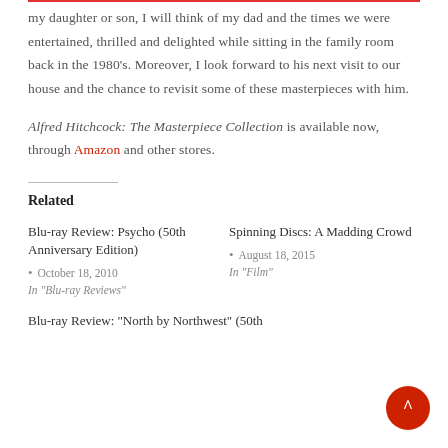my daughter or son, I will think of my dad and the times we were entertained, thrilled and delighted while sitting in the family room back in the 1980's. Moreover, I look forward to his next visit to our house and the chance to revisit some of these masterpieces with him.
Alfred Hitchcock: The Masterpiece Collection is available now, through Amazon and other stores.
Related
Blu-ray Review: Psycho (50th Anniversary Edition)
• October 18, 2010
In "Blu-ray Reviews"
Spinning Discs: A Madding Crowd
• August 18, 2015
In "Film"
Blu-ray Review: "North by Northwest" (50th